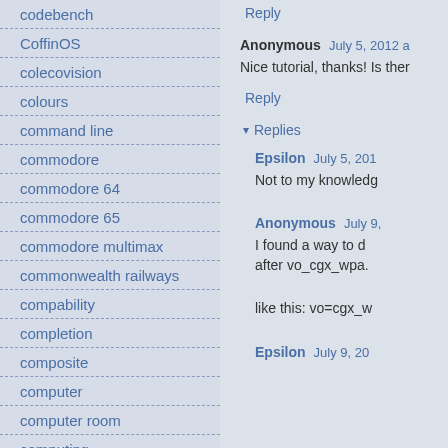codebench
CoffinOS
colecovision
colours
command line
commodore
commodore 64
commodore 65
commodore multimax
commonwealth railways
compability
completion
composite
computer
computer room
computing
comspec
concierto
config.tool 1.1
Reply
Anonymous July 5, 2012 a...
Nice tutorial, thanks! Is ther...
Reply
▾ Replies
Epsilon July 5, 201...
Not to my knowledg...
Anonymous July 9,...
I found a way to d... after vo_cgx_wpa....
like this: vo=cgx_w...
Epsilon July 9, 20...